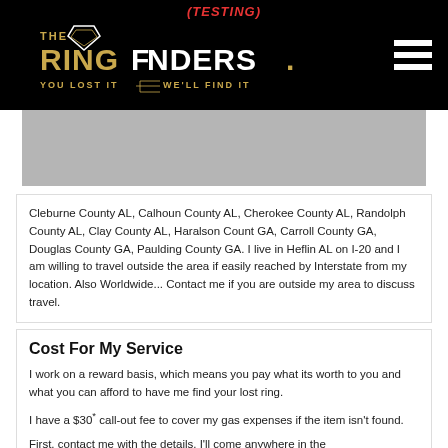(TESTING) THE RING FINDERS. YOU LOST IT WE'LL FIND IT
[Figure (photo): Gray placeholder image box for a member profile photo]
Cleburne County AL, Calhoun County AL, Cherokee County AL, Randolph County AL, Clay County AL, Haralson Count GA, Carroll County GA, Douglas County GA, Paulding County GA. I live in Heflin AL on I-20 and I am willing to travel outside the area if easily reached by Interstate from my location. Also Worldwide... Contact me if you are outside my area to discuss travel.
Cost For My Service
I work on a reward basis, which means you pay what its worth to you and what you can afford to have me find your lost ring.
I have a $30* call-out fee to cover my gas expenses if the item isn't found.
First, contact me with the details. I'll come anywhere in the